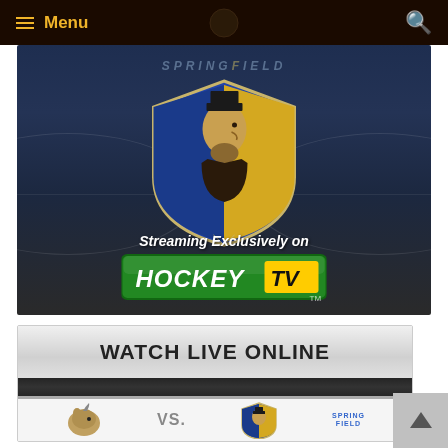Menu
[Figure (screenshot): Springfield hockey team promotional banner showing the Springfield Falcons logo (shield with Abraham Lincoln silhouette in blue and gold), text reading 'Streaming Exclusively on HockeyTV' on a dark hockey rink background with SPRINGFIELD text at top]
[Figure (screenshot): Watch Live Online card with dark divider bar and partial game matchup showing team logos (rhino vs Springfield) with 'VS.' text and Springfield logo with team name banner]